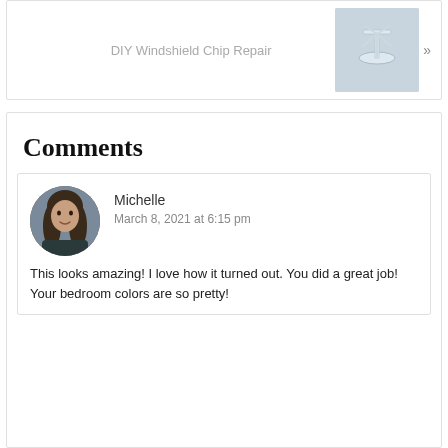[Figure (other): Navigation card linking to 'DIY Windshield Chip Repair' post with a thumbnail image of a windshield repair kit suction cup device and a right-arrow chevron]
Comments
[Figure (photo): Circular avatar photo of commenter Michelle, a woman with long dark hair]
Michelle
March 8, 2021 at 6:15 pm
This looks amazing! I love how it turned out. You did a great job! Your bedroom colors are so pretty!